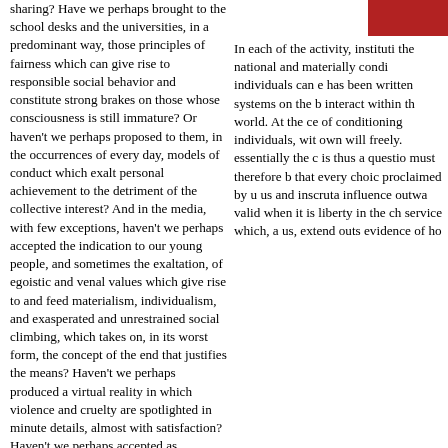sharing? Have we perhaps brought to the school desks and the universities, in a predominant way, those principles of fairness which can give rise to responsible social behavior and constitute strong brakes on those whose consciousness is still immature? Or haven't we perhaps proposed to them, in the occurrences of every day, models of conduct which exalt personal achievement to the detriment of the collective interest? And in the media, with few exceptions, haven't we perhaps accepted the indication to our young people, and sometimes the exaltation, of egoistic and venal values which give rise to and feed materialism, individualism, and exasperated and unrestrained social climbing, which takes on, in its worst form, the concept of the end that justifies the means? Haven't we perhaps produced a virtual reality in which violence and cruelty are spotlighted in minute details, almost with satisfaction? Haven't we perhaps accepted as unavoidable the fact of living an existence of well-being side by side with extremely hard and cruel realities that see thousands of children die of hunger every day? Haven't we perhaps accepted without objection, in the virtual reality
[Figure (other): Red/dark red rectangular block in upper right corner]
In each of the activity, instituti the national and materially condi individuals can e has been written systems on the b interact within th world. At the ce of conditioning individuals, wit own will freely. essentially the c is thus a questio must therefore b that every choic proclaimed by u us and inscruta influence outwa valid when it is liberty in the ch service which, a us, extend outs evidence of ho